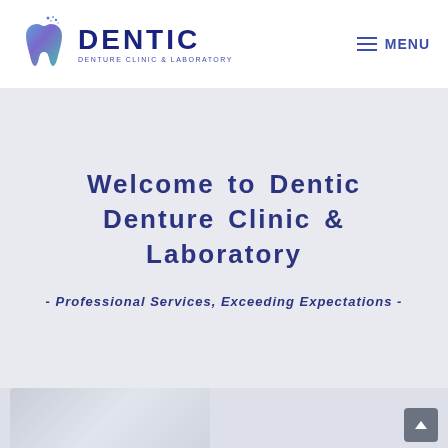[Figure (logo): Dentic Denture Clinic & Laboratory logo with tooth icon and brand name]
MENU
Welcome to Dentic Denture Clinic & Laboratory
- Professional Services, Exceeding Expectations -
[Figure (photo): Bottom image strip showing partial clinic interior photo]